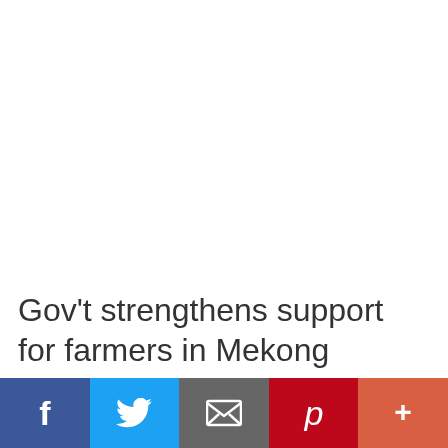Gov't strengthens support for farmers in Mekong Delta to use machines
[Figure (other): Social sharing bar with Facebook, Twitter, Email, Pinterest, and More (+) buttons]